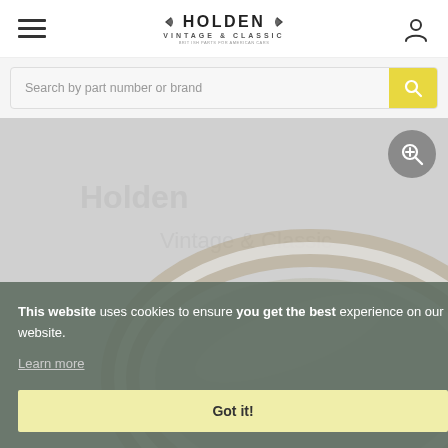[Figure (screenshot): Holden Vintage & Classic website header with hamburger menu, logo, and user account icon]
[Figure (screenshot): Search bar with placeholder text 'Search by part number or brand' and yellow search button]
[Figure (photo): Product photo of a chrome hub cap ring/trim ring for a classic car wheel]
This website uses cookies to ensure you get the best experience on our website.
Learn more
Got it!